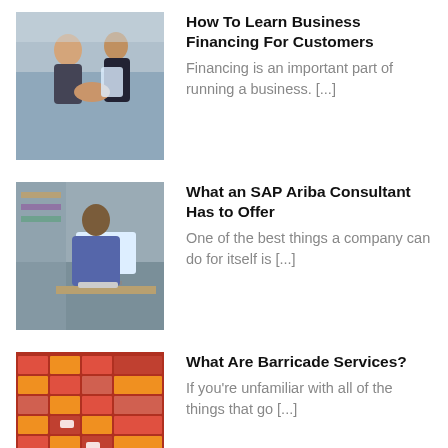[Figure (photo): Two business people shaking hands with a tablet in hand, office setting]
How To Learn Business Financing For Customers
Financing is an important part of running a business. [...]
[Figure (photo): Man working at a computer/desktop monitor in an office]
What an SAP Ariba Consultant Has to Offer
One of the best things a company can do for itself is [...]
[Figure (photo): Aerial view of colorful shipping containers or market stalls]
What Are Barricade Services?
If you're unfamiliar with all of the things that go [...]